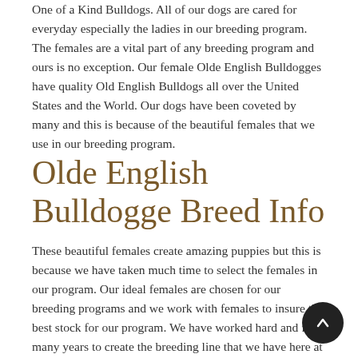One of a Kind Bulldogs. All of our dogs are cared for everyday especially the ladies in our breeding program. The females are a vital part of any breeding program and ours is no exception. Our female Olde English Bulldogges have quality Old English Bulldogs all over the United States and the World. Our dogs have been coveted by many and this is because of the beautiful females that we use in our breeding program.
Olde English Bulldogge Breed Info
These beautiful females create amazing puppies but this is because we have taken much time to select the females in our program. Our ideal females are chosen for our breeding programs and we work with females to insure the best stock for our program. We have worked hard and for many years to create the breeding line that we have here at One of a Kind Bulldogs. These beautiful dogs are the reason we